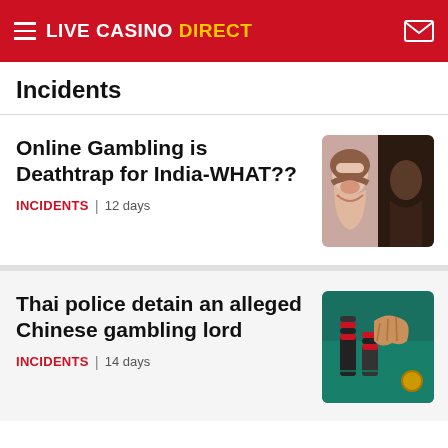LIVE CASINO DIRECT
Incidents
Online Gambling is Deathtrap for India-WHAT??
INCIDENTS | 12 days
[Figure (photo): Woman with hand on forehead looking distressed, split image with dark background on right]
Thai police detain an alleged Chinese gambling lord
INCIDENTS | 14 days
[Figure (photo): Casino chips stacked on a green felt gambling table with hands reaching in]